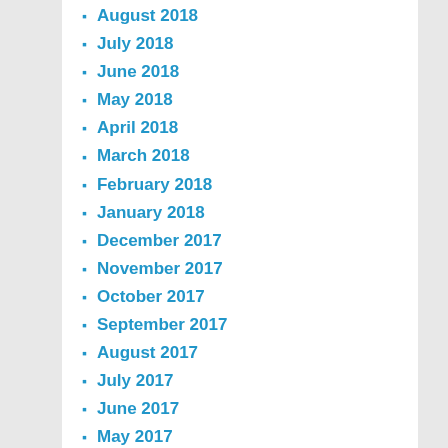August 2018
July 2018
June 2018
May 2018
April 2018
March 2018
February 2018
January 2018
December 2017
November 2017
October 2017
September 2017
August 2017
July 2017
June 2017
May 2017
April 2017
March 2017
February 2017
January 2017
December 2016
November 2016